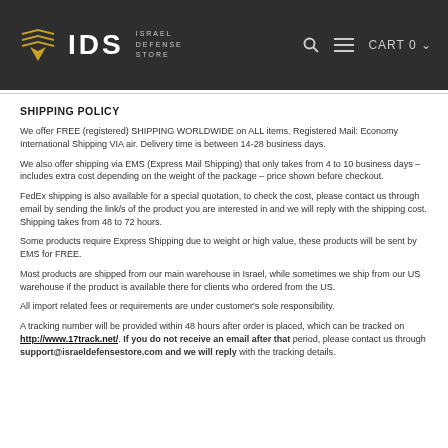[Figure (logo): Israel Defense Store logo with gold chevron/shield icon, white IDS text, and 'ISRAEL DEFENSE STORE' text. Header also shows search icon, hamburger menu icon, and CART 0 dropdown.]
SHIPPING POLICY
We offer FREE (registered) SHIPPING WORLDWIDE on ALL items. Registered Mail: Economy International Shipping VIA air. Delivery time is between 14-28 business days.
We also offer shipping via EMS (Express Mail Shipping) that only takes from 4 to 10 business days – includes extra cost depending on the weight of the package – price shown before checkout.
FedEx shipping is also available for a special quotation, to check the cost, please contact us through email by sending the link/s of the product you are interested in and we will reply with the shipping cost. Shipping takes from 48 to 72 hours.
Some products require Express Shipping due to weight or high value, these products will be sent by EMS for FREE.
Most products are shipped from our main warehouse in Israel, while sometimes we ship from our US warehouse if the product is available there for clients who ordered from the US.
All import related fees or requirements are under customer's sole responsibility.
A tracking number will be provided within 48 hours after order is placed, which can be tracked on http://www.17track.net/. If you do not receive an email after that period, please contact us through support@israeldefensestore.com and we will reply with the tracking details.